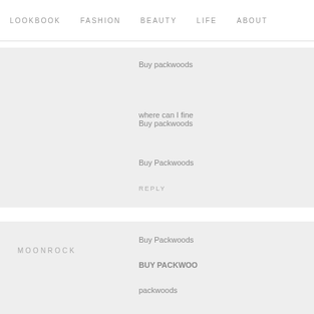LOOKBOOK   FASHION   BEAUTY   LIFE   ABOUT
Buy packwoods
where can I find Buy packwoods
Buy Packwoods
REPLY
MOONROCK
Buy Packwoods
BUY PACKWOO
packwoods
Buy Packwoods